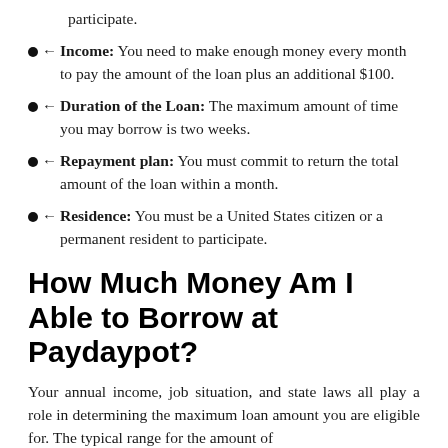participate.
Income: You need to make enough money every month to pay the amount of the loan plus an additional $100.
Duration of the Loan: The maximum amount of time you may borrow is two weeks.
Repayment plan: You must commit to return the total amount of the loan within a month.
Residence: You must be a United States citizen or a permanent resident to participate.
How Much Money Am I Able to Borrow at Paydaypot?
Your annual income, job situation, and state laws all play a role in determining the maximum loan amount you are eligible for. The typical range for the amount of money you borrow is between $100 and $1,000. U...